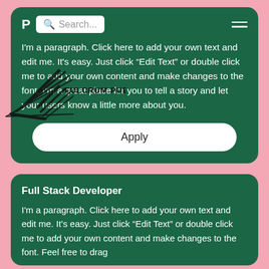[Figure (screenshot): Mobile app UI screenshot showing two dark green cards on a pink background. Top card has a navigation bar with search box, body paragraph text, and an Apply button. Bottom card has a Full Stack Developer heading and paragraph text. A Fulcrum Publishing logo watermark overlays the left side.]
I'm a paragraph. Click here to add your own text and edit me. It's easy. Just click “Edit Text” or double click me to add your own content and make changes to the font. I’m a great place for you to tell a story and let your users know a little more about you.
Apply
Full Stack Developer
I'm a paragraph. Click here to add your own text and edit me. It’s easy. Just click “Edit Text” or double click me to add your own content and make changes to the font. Feel free to drag